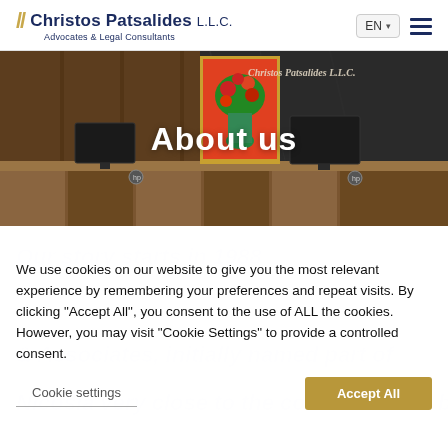Christos Patsalides L.L.C. Advocates & Legal Consultants
[Figure (photo): Office reception area with wooden desk, painting of flowers, and 'Christos Patsalides L.L.C.' text on dark marble wall. Overlay text reads 'About us'.]
We use cookies on our website to give you the most relevant experience by remembering your preferences and repeat visits. By clicking "Accept All", you consent to the use of ALL the cookies. However, you may visit "Cookie Settings" to provide a controlled consent.
Cookie settings  |  Accept All